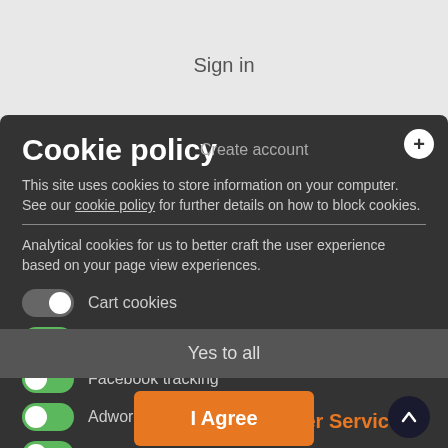Sign in
Cookie policy
Create account
This site uses cookies to store information on your computer. See our cookie policy for further details on how to block cookies.
Analytical cookies for us to better craft the user experience based on your page view experiences.
Cart cookies (toggle off)
Google analytics (toggle on)
Facebook tracking (toggle on)
Adwords tracking (toggle on)
Skroutz tracking (toggle on)
Customer Service
About your order
Wishlist
Compare list
Yes to all
I Agree